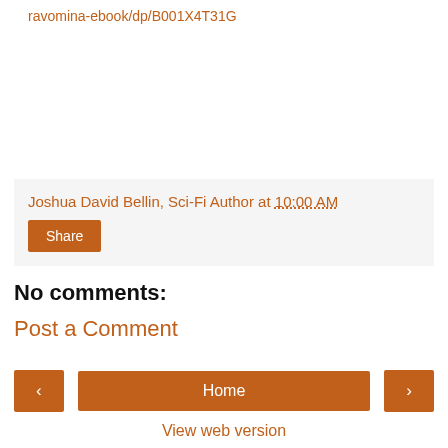ravomina-ebook/dp/B001X4T31G
Joshua David Bellin, Sci-Fi Author at 10:00 AM
Share
No comments:
Post a Comment
Home
View web version
YA Guy Is